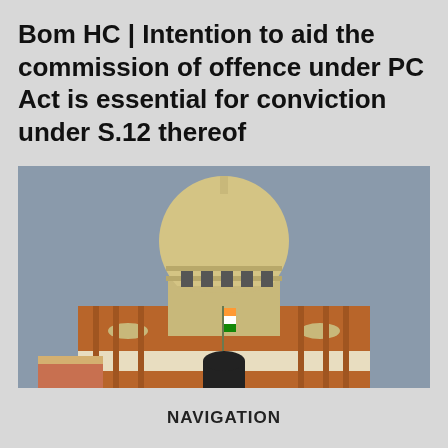Bom HC | Intention to aid the commission of offence under PC Act is essential for conviction under S.12 thereof
[Figure (photo): Photograph of the Supreme Court of India building showing the dome, red sandstone facade, and a silhouetted figure in the foreground against a grey sky]
NAVIGATION